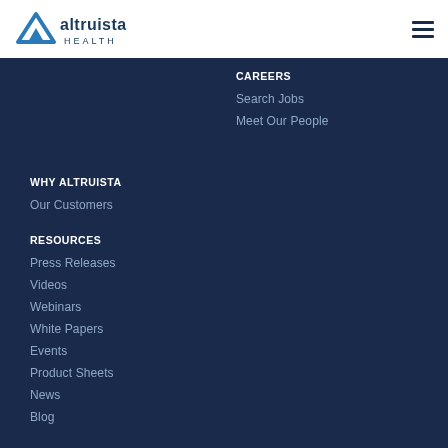[Figure (logo): Altruista Health logo with blue triangle/mountain icon and company name text]
CAREERS
Search Jobs
Meet Our People
WHY ALTRUISTA
Our Customers
RESOURCES
Press Releases
Videos
Webinars
White Papers
Events
Product Sheets
News
Blog